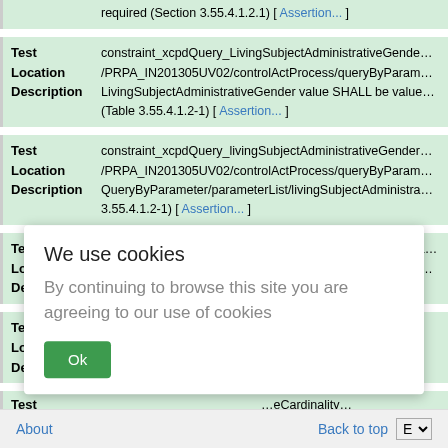required (Section 3.55.4.1.2.1) [ Assertion... ]
| Field | Value |
| --- | --- |
| Test | constraint_xcpdQuery_LivingSubjectAdministrativeGende... |
| Location | /PRPA_IN201305UV02/controlActProcess/queryByParam... |
| Description | LivingSubjectAdministrativeGender value SHALL be value... (Table 3.55.4.1.2-1) [ Assertion... ] |
| Field | Value |
| --- | --- |
| Test | constraint_xcpdQuery_livingSubjectAdministrativeGender... |
| Location | /PRPA_IN201305UV02/controlActProcess/queryByParam... |
| Description | QueryByParameter/parameterList/livingSubjectAdministra... 3.55.4.1.2-1) [ Assertion... ] |
| Field | Value |
| --- | --- |
| Test | constraint_xcpdquery_livingSubjectBirthTimeValueCardina... |
| Location | /PRPA_IN201305UV02/controlActProcess/queryByParam... |
| Description | ...arameter SHAL... |
| Field | Value |
| --- | --- |
| Test | ...Jse... |
| Location | .../queryByParam... |
| Description | ...LivingSubjectNa... |
Test ...eCardinality...
We use cookies
By continuing to browse this site you are agreeing to our use of cookies
[Ok]
About   Back to top   E